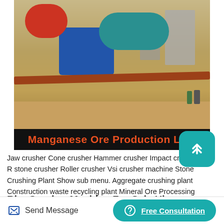[Figure (photo): Industrial mining machinery / manganese ore processing equipment on a worksite. Shows large cylindrical drums (red, teal), blue machine body, conveyor belts, and earthen background with workers. A black banner below the photo reads 'Manganese Ore Production Line' in red bold text.]
Jaw crusher Cone crusher Hammer crusher Impact crusher R stone crusher Roller crusher Vsi crusher machine Stone Crushing Plant Show sub menu. Aggregate crushing plant Construction waste recycling plant Mineral Ore Processing Plant Sand Manufacturing Plant Solution Show sub menu. Mineral Processing Aggregates Processing.
Rim Crusher Machine For Sale Uk